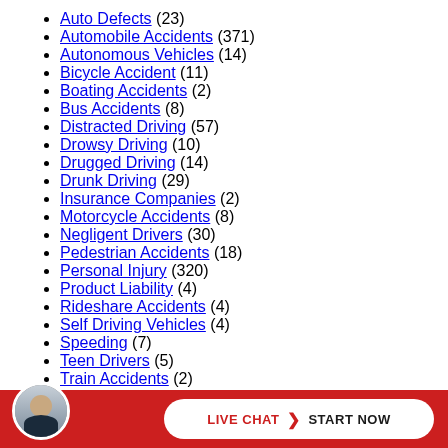Auto Defects (23)
Automobile Accidents (371)
Autonomous Vehicles (14)
Bicycle Accident (11)
Boating Accidents (2)
Bus Accidents (8)
Distracted Driving (57)
Drowsy Driving (10)
Drugged Driving (14)
Drunk Driving (29)
Insurance Companies (2)
Motorcycle Accidents (8)
Negligent Drivers (30)
Pedestrian Accidents (18)
Personal Injury (320)
Product Liability (4)
Rideshare Accidents (4)
Self Driving Vehicles (4)
Speeding (7)
Teen Drivers (5)
Train Accidents (2)
Trucking Accidents (4)
Uncategorized (54)
Work Zone Accidents (2)
[Figure (infographic): Bottom red bar with live chat button reading LIVE CHAT > START NOW, and a circular avatar photo of a man in a suit]